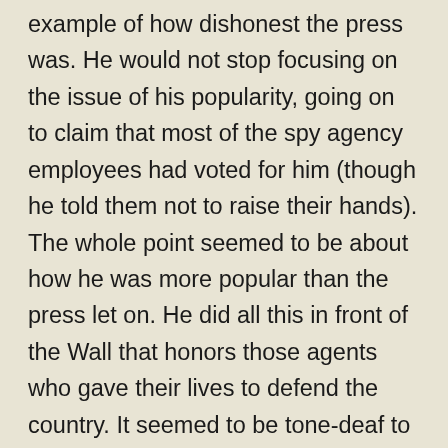example of how dishonest the press was. He would not stop focusing on the issue of his popularity, going on to claim that most of the spy agency employees had voted for him (though he told them not to raise their hands). The whole point seemed to be about how he was more popular than the press let on. He did all this in front of the Wall that honors those agents who gave their lives to defend the country. It seemed to be tone-deaf to say the least. Trump claimed now to be united with the agency and wanted to let the assembled audience know it had his full support. (It remains to be seen if any investigations into Trump’s behavior will sustain that commitment to fully back the agency.) He